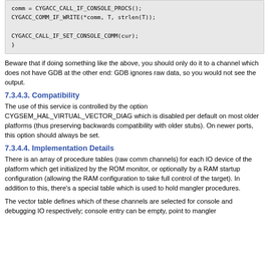comm = CYGACC_CALL_IF_CONSOLE_PROCS();
    CYGACC_COMM_IF_WRITE(*comm, T, strlen(T));

    CYGACC_CALL_IF_SET_CONSOLE_COMM(cur);
}
Beware that if doing something like the above, you should only do it to a channel which does not have GDB at the other end: GDB ignores raw data, so you would not see the output.
7.3.4.3. Compatibility
The use of this service is controlled by the option CYGSEM_HAL_VIRTUAL_VECTOR_DIAG which is disabled per default on most older platforms (thus preserving backwards compatibility with older stubs). On newer ports, this option should always be set.
7.3.4.4. Implementation Details
There is an array of procedure tables (raw comm channels) for each IO device of the platform which get initialized by the ROM monitor, or optionally by a RAM startup configuration (allowing the RAM configuration to take full control of the target). In addition to this, there's a special table which is used to hold mangler procedures.
The vector table defines which of these channels are selected for console and debugging IO respectively; console entry can be empty, point to mangler